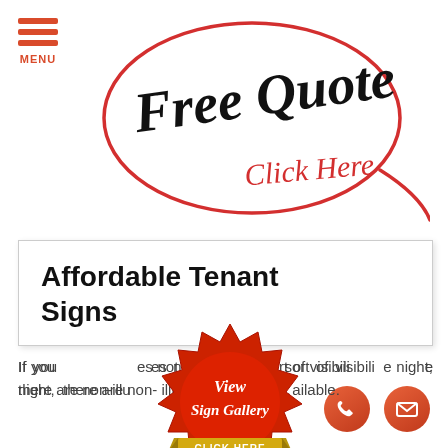[Figure (illustration): Red hamburger menu icon with three horizontal red bars and 'MENU' label below in red]
[Figure (illustration): Handwritten-style 'Free Quote' in black script with 'Click Here' in red script, surrounded by a red hand-drawn oval]
Affordable Tenant Signs
If your business does not require any sort of visibility at night, there are non-illuminated signs available.
[Figure (illustration): Red wax seal badge with 'View Sign Gallery' in white script text and 'CLICK HERE' on a gold ribbon banner below]
[Figure (illustration): Orange-red circle button with white telephone handset icon]
[Figure (illustration): Orange-red circle button with white envelope/mail icon]